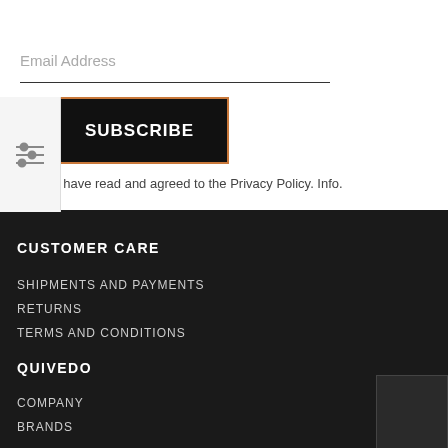Email Address
[Figure (infographic): Filter/settings icon with three horizontal sliders]
SUBSCRIBE
I have read and agreed to the Privacy Policy. Info.
CUSTOMER CARE
SHIPMENTS AND PAYMENTS
RETURNS
TERMS AND CONDITIONS
QUIVEDO
COMPANY
BRANDS